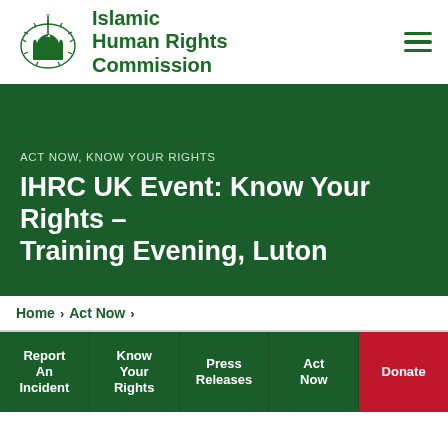Islamic Human Rights Commission
ACT NOW, KNOW YOUR RIGHTS
IHRC UK Event: Know Your Rights – Training Evening, Luton
Home > Act Now >
Report An Incident
Know Your Rights
Press Releases
Act Now
Donate